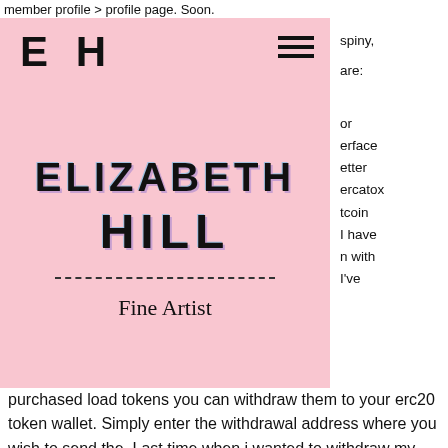member profile &gt; profile page. Soon.
[Figure (screenshot): Elizabeth Hill artist website screenshot showing pink branded card with monogram EH, hamburger menu, stylized text ELIZABETH HILL with shadow effect, a dashed divider, and subtitle Fine Artist]
spiny, are: or erface etter ercatox tcoin I have n with I've purchased load tokens you can withdraw them to your erc20 token wallet. Simply enter the withdrawal address where you wish to send the. Last time when i wanted to withdraw my coins from mercatox,. The transaction was on processing process for almost two days. 5 btc daily limit. That was 4 days ago. Now, the withdrawal is listed under